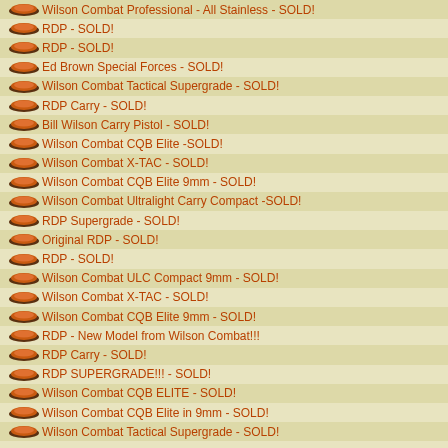Wilson Combat Professional - All Stainless - SOLD!
RDP - SOLD!
RDP - SOLD!
Ed Brown Special Forces - SOLD!
Wilson Combat Tactical Supergrade - SOLD!
RDP Carry - SOLD!
Bill Wilson Carry Pistol - SOLD!
Wilson Combat CQB Elite -SOLD!
Wilson Combat X-TAC - SOLD!
Wilson Combat CQB Elite 9mm - SOLD!
Wilson Combat Ultralight Carry Compact -SOLD!
RDP Supergrade - SOLD!
Original RDP - SOLD!
RDP - SOLD!
Wilson Combat ULC Compact 9mm - SOLD!
Wilson Combat X-TAC - SOLD!
Wilson Combat CQB Elite 9mm - SOLD!
RDP - New Model from Wilson Combat!!!
RDP Carry - SOLD!
RDP SUPERGRADE!!! - SOLD!
Wilson Combat CQB ELITE - SOLD!
Wilson Combat CQB Elite in 9mm - SOLD!
Wilson Combat Tactical Supergrade - SOLD!